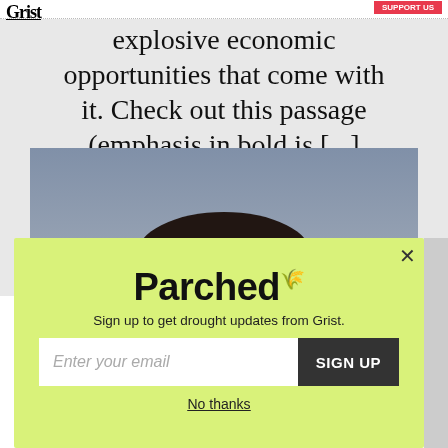Grist
explosive economic opportunities that come with it. Check out this passage (emphasis in bold is [...]
[Figure (photo): Cropped photo showing the top of a person's head with dark hair against a gray-blue background]
Parched
Sign up to get drought updates from Grist.
Enter your email | SIGN UP
No thanks